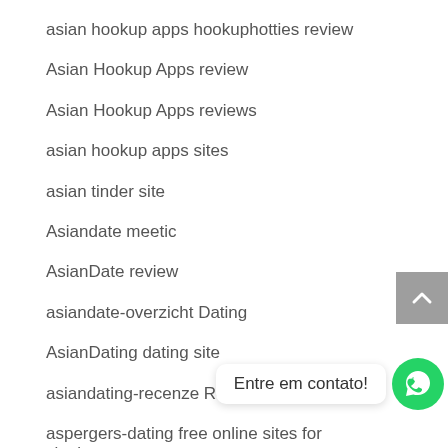asian hookup apps hookuphotties review
Asian Hookup Apps review
Asian Hookup Apps reviews
asian hookup apps sites
asian tinder site
Asiandate meetic
AsianDate review
asiandate-overzicht Dating
AsianDating dating site
asiandating-recenze Recenze
aspergers-dating free online sites for singles
ateist-arkadas ?st ba?lant? alanlar?